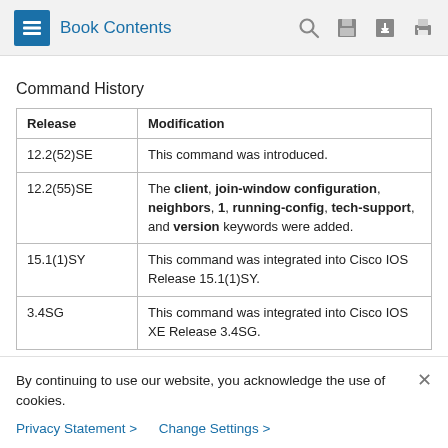Book Contents
Command History
| Release | Modification |
| --- | --- |
| 12.2(52)SE | This command was introduced. |
| 12.2(55)SE | The client, join-window configuration, neighbors, 1, running-config, tech-support, and version keywords were added. |
| 15.1(1)SY | This command was integrated into Cisco IOS Release 15.1(1)SY. |
| 3.4SG | This command was integrated into Cisco IOS XE Release 3.4SG. |
By continuing to use our website, you acknowledge the use of cookies.
Privacy Statement >  Change Settings >